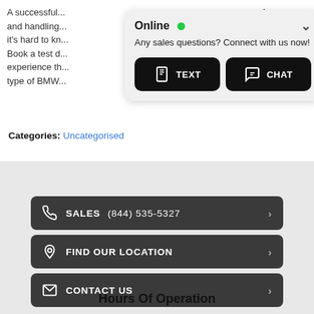A successful... rformance and handling... t systems, it's hard to kn... ce will be. Book a test d... hip, and experience th... whichever type of BMW...
[Figure (screenshot): Online chat popup with green dot status indicator, text 'Any sales questions? Connect with us now!', and two buttons: TEXT and CHAT]
Categories: Uncategorised
SALES (844) 535-5327
FIND OUR LOCATION
CONTACT US
Hours Of Operation